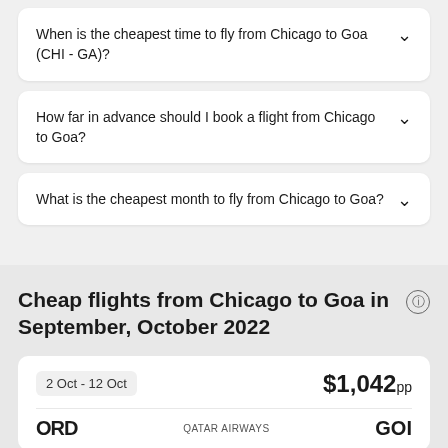When is the cheapest time to fly from Chicago to Goa (CHI - GA)?
How far in advance should I book a flight from Chicago to Goa?
What is the cheapest month to fly from Chicago to Goa?
Cheap flights from Chicago to Goa in September, October 2022
2 Oct - 12 Oct  $1,042pp
ORD  QATAR AIRWAYS  GOI